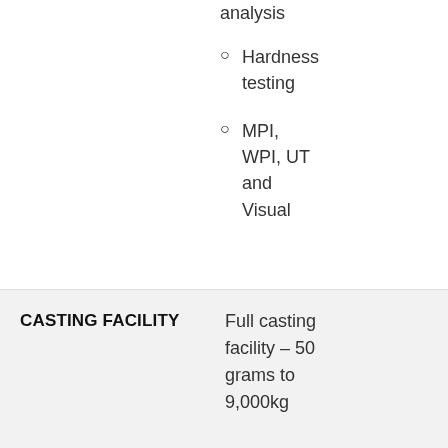analysis
Hardness testing
MPI, WPI, UT and Visual
|  |  |
| --- | --- |
| CASTING FACILITY | Full casting facility – 50 grams to 9,000kg |
| HEAT TREATMENT | Heat treatment capabilities |